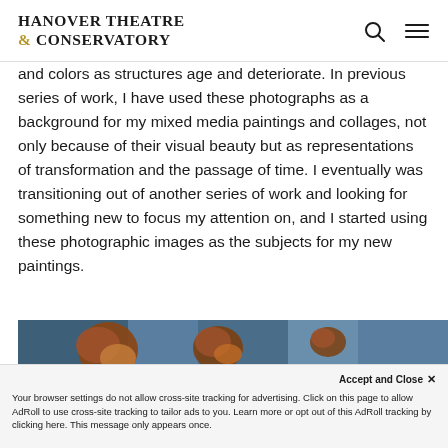HANOVER THEATRE & CONSERVATORY
and colors as structures age and deteriorate. In previous series of work, I have used these photographs as a background for my mixed media paintings and collages, not only because of their visual beauty but as representations of transformation and the passage of time. I eventually was transitioning out of another series of work and looking for something new to focus my attention on, and I started using these photographic images as the subjects for my new paintings.
[Figure (photo): Photograph of a weathered/aged surface showing peeling material with browns and oranges against a blue background, with partial white/blue text or numbers visible]
Accept and Close ✕
Your browser settings do not allow cross-site tracking for advertising. Click on this page to allow AdRoll to use cross-site tracking to tailor ads to you. Learn more or opt out of this AdRoll tracking by clicking here. This message only appears once.